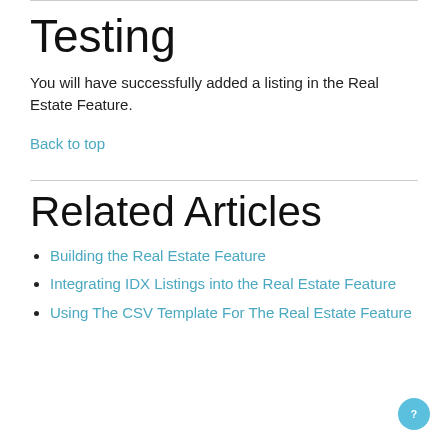Testing
You will have successfully added a listing in the Real Estate Feature.
Back to top
Related Articles
Building the Real Estate Feature
Integrating IDX Listings into the Real Estate Feature
Using The CSV Template For The Real Estate Feature